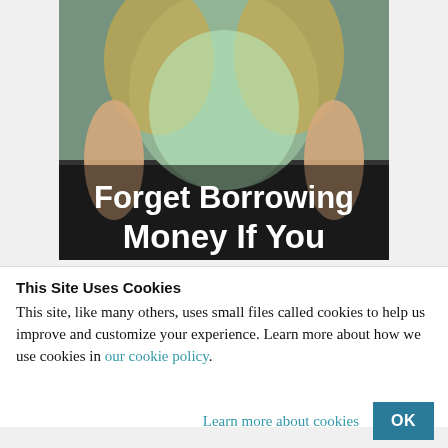[Figure (photo): Advertisement image showing a woman in a green top with overlaid bold white text reading 'Forget Borrowing Money If You']
This Site Uses Cookies
This site, like many others, uses small files called cookies to help us improve and customize your experience. Learn more about how we use cookies in our cookie policy.
Learn more about cookies   OK